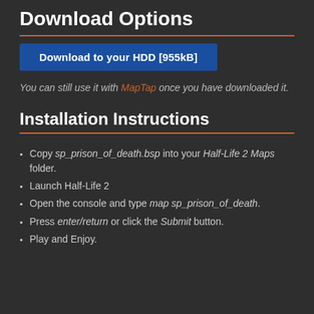Download Options
Download to your HDD [955kB]
You can still use it with MapTap once you have downloaded it.
Installation Instructions
Copy sp_prison_of_death.bsp into your Half-Life 2 Maps folder.
Launch Half-Life 2
Open the console and type map sp_prison_of_death.
Press enter/return or click the Submit button.
Play and Enjoy.